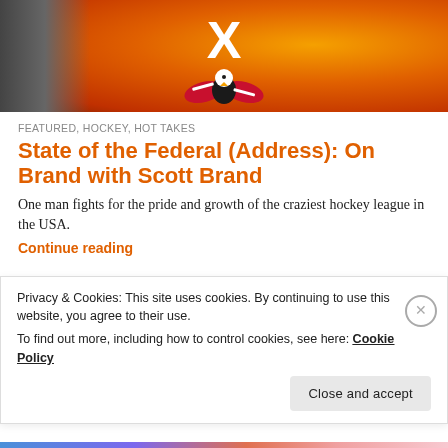[Figure (photo): Banner image showing a person on the left side against an orange flame background with a large white X and a hockey eagle logo (red, white, and dark bird with wings spread) in the center-right area.]
FEATURED, HOCKEY, HOT TAKES
State of the Federal (Address): On Brand with Scott Brand
One man fights for the pride and growth of the craziest hockey league in the USA.
Continue reading
Privacy & Cookies: This site uses cookies. By continuing to use this website, you agree to their use.
To find out more, including how to control cookies, see here: Cookie Policy
Close and accept